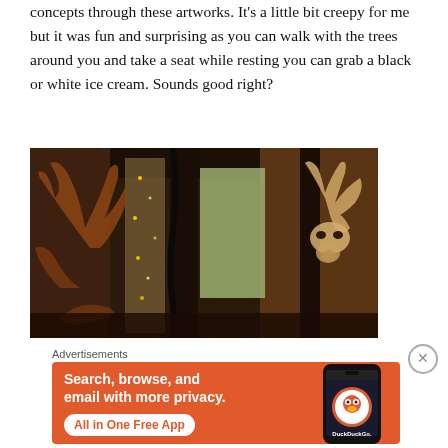concepts through these artworks. It's a little bit creepy for me but it was fun and surprising as you can walk with the trees around you and take a seat while resting you can grab a black or white ice cream. Sounds good right?
[Figure (photo): Interior photo of a rustic wooden structure with large antlers and deer skull mounted on display, dark wooden pillars, and natural light coming through openings.]
Advertisements
[Figure (screenshot): DuckDuckGo advertisement banner with orange background. Text reads: Search, browse, and email with more privacy. All in One Free App. Shows a phone with DuckDuckGo logo.]